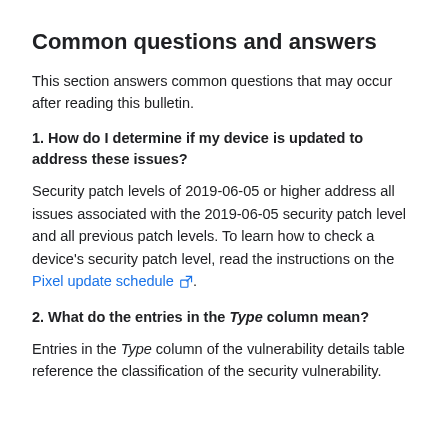Common questions and answers
This section answers common questions that may occur after reading this bulletin.
1. How do I determine if my device is updated to address these issues?
Security patch levels of 2019-06-05 or higher address all issues associated with the 2019-06-05 security patch level and all previous patch levels. To learn how to check a device's security patch level, read the instructions on the Pixel update schedule.
2. What do the entries in the Type column mean?
Entries in the Type column of the vulnerability details table reference the classification of the security vulnerability.